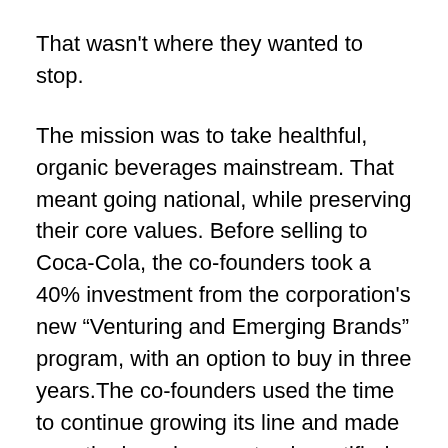That wasn't where they wanted to stop.
The mission was to take healthful, organic beverages mainstream. That meant going national, while preserving their core values. Before selling to Coca-Cola, the co-founders took a 40% investment from the corporation's new “Venturing and Emerging Brands” program, with an option to buy in three years.The co-founders used the time to continue growing its line and made sure the brand was not only certified organic; it was certified Fair Trade so it would give back to communities and support acceptable working conditions. By putting in place certifications from reputable organizations, nobody could cheapen their brand.
They kept innovating. One of Goldman’s three sons inspired Honest Kids, an organic less-sugary drink